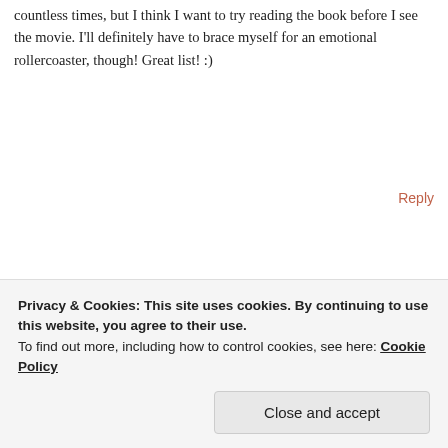countless times, but I think I want to try reading the book before I see the movie. I'll definitely have to brace myself for an emotional rollercoaster, though! Great list! :)
Reply
Maggie @ macarons & paperbacks
May 17, 2016 at 10:07 am
It's emotional but in both uplifting and heartbreaking ways. There are really sad parts but also hilarious parts that will have you crying
Privacy & Cookies: This site uses cookies. By continuing to use this website, you agree to their use.
To find out more, including how to control cookies, see here: Cookie Policy